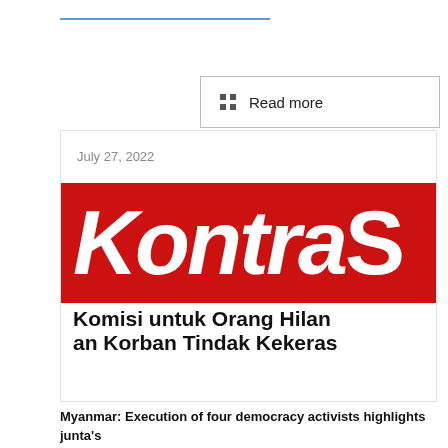[Figure (other): A decorative blue horizontal line separator]
Read more
[Figure (screenshot): Article card showing KontraS logo (red background with white bold 'KontraS' text) and subtitle text 'Komisi untuk Orang Hilang dan Korban Tindak Kekerasan', dated July 27, 2022]
July 27, 2022
Myanmar: Execution of four democracy activists highlights junta's brutality